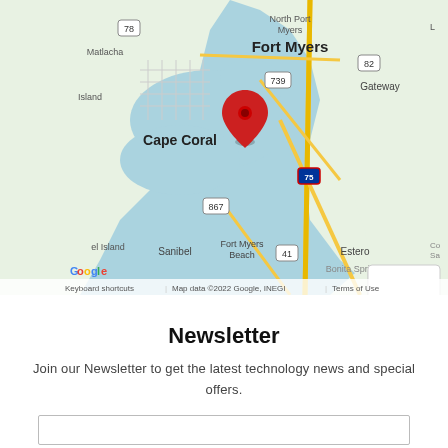[Figure (map): Google Maps screenshot showing Fort Myers and Cape Coral, Florida area with a red location pin near Cape Coral. Map includes labels for Matlacha, Island, Fort Myers, Gateway, Cape Coral, Sanibel, Fort Myers Beach, Estero, Bonita Springs, route markers 78, 82, 739, 867, 75, 41. Zoom and street view controls visible on right side. Google logo and attribution bar at bottom.]
Newsletter
Join our Newsletter to get the latest technology news and special offers.